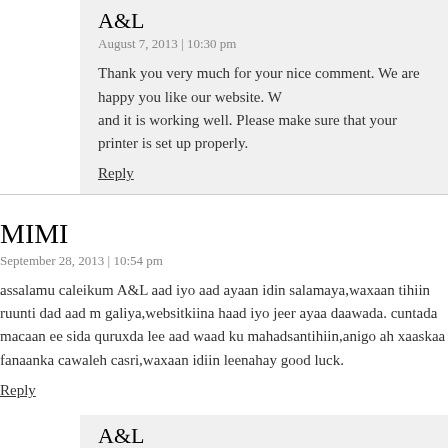A&L
August 7, 2013 | 10:30 pm
Thank you very much for your nice comment. We are happy you like our website. W… and it is working well. Please make sure that your printer is set up properly.
Reply
MIMI
September 28, 2013 | 10:54 pm
assalamu caleikum A&L aad iyo aad ayaan idin salamaya,waxaan tihiin ruunti dad aad m galiya,websitkiina haad iyo jeer ayaa daawada. cuntada macaan ee sida quruxda lee aad waad ku mahadsantihiin,anigo ah xaaskaa fanaanka cawaleh casri,waxaan idiin leenahay good luck.
Reply
A&L
September 29, 2013 | 1:53 am
Wacalaykum Assalaam Waraxmatullaahi Wabarakaatuh.
Aad iyo aad ayaan ugu faraxnay faallada qiimaha leh. Adiga iyo fannaankeenna qaa waan idinka guddoonnay salaanta iyo hambalyada. Cawaleh wuxuu ka mid yahay fa
Waxaanna jecelnahay inaan fankiisa u gudbino daawadeyaasheenna, siiba kuwa ain